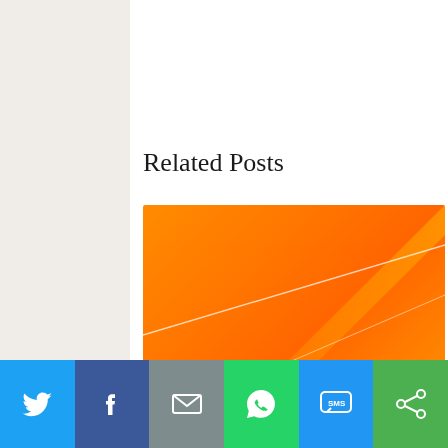Related Posts
[Figure (illustration): Orange gradient square image with diagonal white line, used as thumbnail for diwali mithais post]
diwali mithais – the sweet and bitter story
[Figure (photo): Partial photo showing a golden chain/jewelry against a blurred beige background]
Twitter | Facebook | Email | WhatsApp | SMS | Share